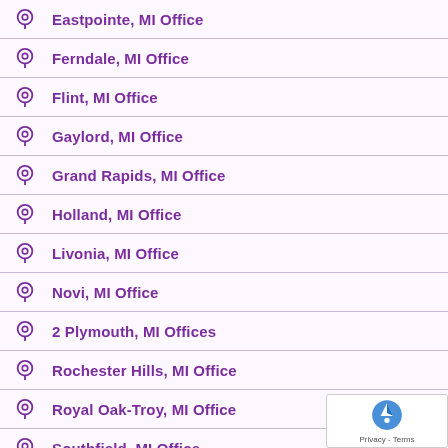Eastpointe, MI Office
Ferndale, MI Office
Flint, MI Office
Gaylord, MI Office
Grand Rapids, MI Office
Holland, MI Office
Livonia, MI Office
Novi, MI Office
2 Plymouth, MI Offices
Rochester Hills, MI Office
Royal Oak-Troy, MI Office
Southfield, MI Office